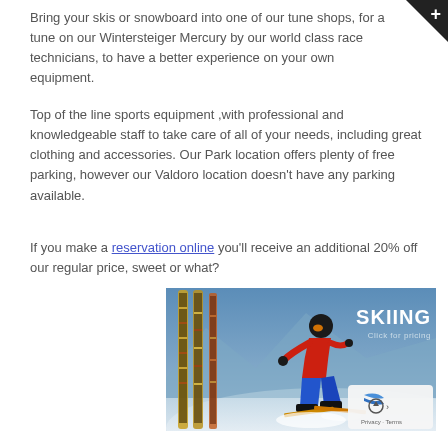Bring your skis or snowboard into one of our tune shops, for a tune on our Wintersteiger Mercury by our world class race technicians, to have a better experience on your own equipment.
Top of the line sports equipment ,with professional and knowledgeable staff to take care of all of your needs, including great clothing and accessories. Our Park location offers plenty of free parking, however our Valdoro location doesn't have any parking available.
If you make a reservation online you'll receive an additional 20% off our regular price, sweet or what?
[Figure (photo): Advertisement image showing skiing equipment (decorated skis on the left) and a skier in red jacket racing downhill on snow, with text overlay 'SKIING Click for pricing']